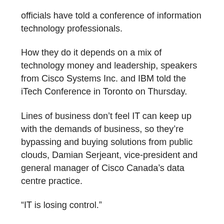officials have told a conference of information technology professionals.
How they do it depends on a mix of technology money and leadership, speakers from Cisco Systems Inc. and IBM told the iTech Conference in Toronto on Thursday.
Lines of business don’t feel IT can keep up with the demands of business, so they’re bypassing and buying solutions from public clouds, Damian Serjeant, vice-president and general manager of Cisco Canada’s data centre practice.
“IT is losing control.”